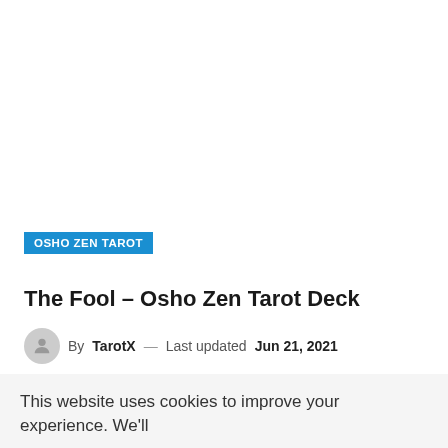OSHO ZEN TAROT
The Fool – Osho Zen Tarot Deck
By TarotX — Last updated Jun 21, 2021
10,710   0
This website uses cookies to improve your experience. We'll